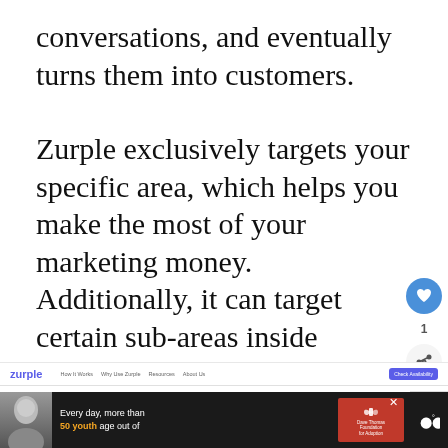conversations, and eventually turns them into customers.
Zurple exclusively targets your specific area, which helps you make the most of your marketing money. Additionally, it can target certain sub-areas inside individual zip codes, further improving efficiency.
[Figure (screenshot): Zurple website screenshot showing navigation bar with logo, links (How It Works, Why Use Zurple, Resources, About Us, Check Availability button), hero section with title 'Your #1 Client Generation Software for Real Estate Agents', bullet points (Generate more leads, Track lead behavior, Optimize your follow-up), and a diagram showing Leads, zurple, and other circles. Social buttons (heart, share) and a 'What's Next: How Does Farfetch Ma...' sidebar panel visible.]
[Figure (screenshot): Advertisement banner at bottom: dark background with woman photo, text 'Every day, more than 50 youth age out of', Dave Thomas Foundation for Adoption logo, and a sound/audio icon on the right.]